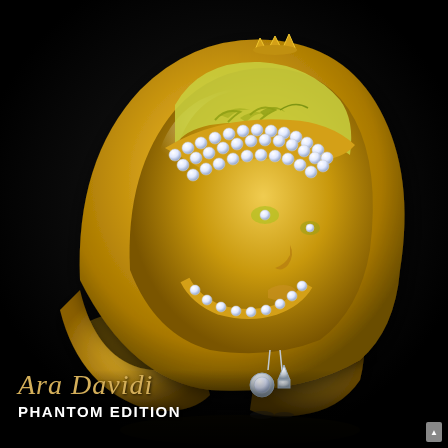[Figure (photo): A luxury gold ring from Ara Davidi Phantom Edition collection. The ring features a gold face mask design with yellow-green enamel, diamond-encrusted band curving across the face, a small crown at the top, and dangling white gold and diamond charms at the chin. The ring is photographed against a black background.]
Ara Davidi
PHANTOM EDITION